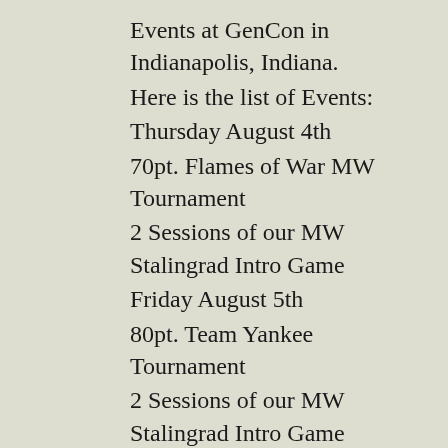Events at GenCon in Indianapolis, Indiana.
Here is the list of Events:
Thursday August 4th
70pt. Flames of War MW Tournament
2 Sessions of our MW Stalingrad Intro Game
Friday August 5th
80pt. Team Yankee Tournament
2 Sessions of our MW Stalingrad Intro Game
Saturday August 6th
108pt. Flames of War LW Tournament
5 Sessions of our new Learn to Play WW2 Intro using the Tobruk and Kasserine Starter Boxes
It look like our gaming area will again be